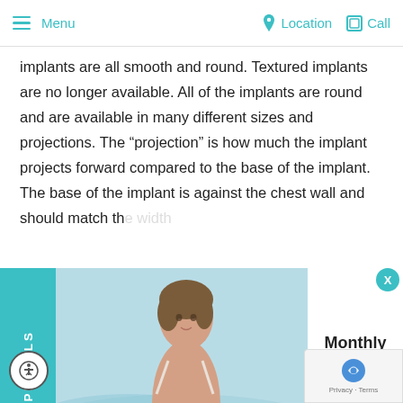Menu | Location | Call
implants are all smooth and round. Textured implants are no longer available. All of the implants are round and are available in many different sizes and projections. The “projection” is how much the implant projects forward compared to the base of the implant. The base of the implant is against the chest wall and should match th[e width of the breast]. The implant does n[ot...]
[Figure (photo): Advertisement banner showing a woman with a teal 'SPECIALS' vertical tab on the left, a photo of a woman in water in the center, and 'Monthly Specials' text with a 'Learn More' teal button on the right]
Implants are ava[ilable in low, moderate, moderate] plus, high, and ultra high projections, depending upon [b]rand. Dr. Coberly will take measurements t[o help] you choose the best implant for you.